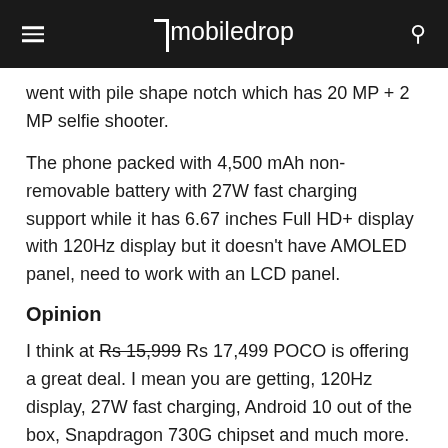mobiledrop
went with pile shape notch which has 20 MP + 2 MP selfie shooter.
The phone packed with 4,500 mAh non-removable battery with 27W fast charging support while it has 6.67 inches Full HD+ display with 120Hz display but it doesn't have AMOLED panel, need to work with an LCD panel.
Opinion
I think at Rs 15,999 Rs 17,499 POCO is offering a great deal. I mean you are getting, 120Hz display, 27W fast charging, Android 10 out of the box, Snapdragon 730G chipset and much more. So yes, if you want to